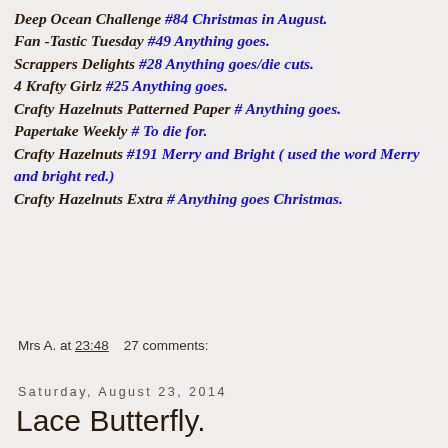Deep Ocean Challenge #84 Christmas in August.
Fan -Tastic Tuesday #49 Anything goes.
Scrappers Delights #28 Anything goes/die cuts.
4 Krafty Girlz #25 Anything goes.
Crafty Hazelnuts Patterned Paper # Anything goes.
Papertake Weekly # To die for.
Crafty Hazelnuts #191 Merry and Bright ( used the word Merry and bright red.)
Crafty Hazelnuts Extra # Anything goes Christmas.
Mrs A. at 23:48   27 comments:
Saturday, August 23, 2014
Lace Butterfly.